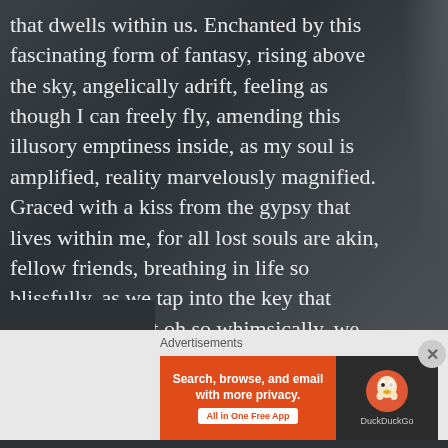that dwells within us. Enchanted by this fascinating form of fantasy, rising above the sky, angelically adrift, feeling as though I can freely fly, amending this illusory emptiness inside, as my soul is amplified, reality marvelously magnified. Graced with a kiss from the gypsy that lives within me, for all lost souls are akin, fellow friends, breathing in life so blissfully, as we tap into the key that when we are lost oh so whimsically, we are actually free, free to see that we hold the keys to unlocking our most divine destiny.
Advertisements
Advertisements
[Figure (infographic): DuckDuckGo advertisement banner. Left side is orange with white bold text: 'Search, browse, and email with more privacy.' and a white button 'All in One Free App'. Right side is dark/black with DuckDuckGo duck logo and 'DuckDuckGo' text.]